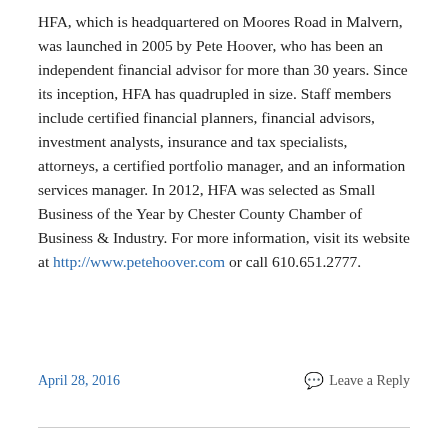HFA, which is headquartered on Moores Road in Malvern, was launched in 2005 by Pete Hoover, who has been an independent financial advisor for more than 30 years. Since its inception, HFA has quadrupled in size. Staff members include certified financial planners, financial advisors, investment analysts, insurance and tax specialists, attorneys, a certified portfolio manager, and an information services manager. In 2012, HFA was selected as Small Business of the Year by Chester County Chamber of Business & Industry. For more information, visit its website at http://www.petehoover.com or call 610.651.2777.
April 28, 2016    Leave a Reply